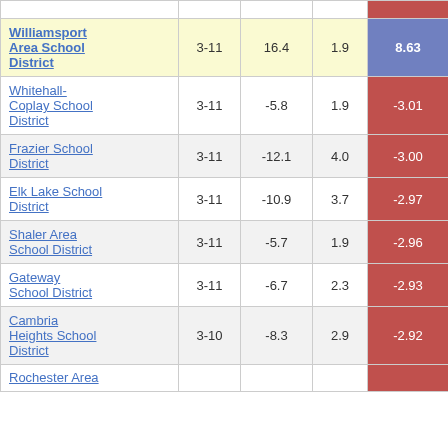| District | Grades | Col3 | Col4 | Col5 |
| --- | --- | --- | --- | --- |
| Williamsport Area School District | 3-11 | 16.4 | 1.9 | 8.63 |
| Whitehall-Coplay School District | 3-11 | -5.8 | 1.9 | -3.01 |
| Frazier School District | 3-11 | -12.1 | 4.0 | -3.00 |
| Elk Lake School District | 3-11 | -10.9 | 3.7 | -2.97 |
| Shaler Area School District | 3-11 | -5.7 | 1.9 | -2.96 |
| Gateway School District | 3-11 | -6.7 | 2.3 | -2.93 |
| Cambria Heights School District | 3-10 | -8.3 | 2.9 | -2.92 |
| Rochester Area... |  |  |  |  |